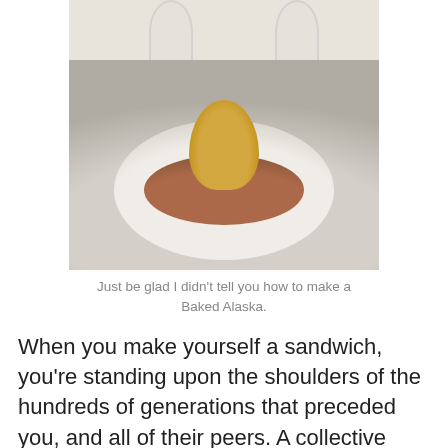[Figure (photo): A Baked Alaska dessert on a white plate with caramel sauce and raspberries, photographed in a restaurant setting with wine glasses in the background.]
Just be glad I didn't tell you how to make a Baked Alaska.
When you make yourself a sandwich, you're standing upon the shoulders of the hundreds of generations that preceded you, and all of their peers. A collective knowledge passed down over millennia. In reality, nobody milks a cow because they want to make a sandwich: but that separation is only possible because of the